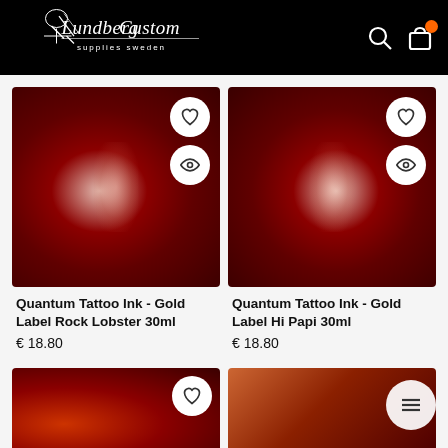[Figure (logo): Lundberg Custom Supplies Sweden logo in white script on black background]
[Figure (photo): Quantum Tattoo Ink bottle with dark red background - Gold Label Rock Lobster 30ml]
Quantum Tattoo Ink - Gold Label Rock Lobster 30ml
€ 18.80
[Figure (photo): Quantum Tattoo Ink bottle with dark red background - Gold Label Hi Papi 30ml]
Quantum Tattoo Ink - Gold Label Hi Papi 30ml
€ 18.80
[Figure (photo): Partial view of tattoo ink product on red background (bottom left)]
[Figure (photo): Partial view of tattoo ink product on red background (bottom right)]